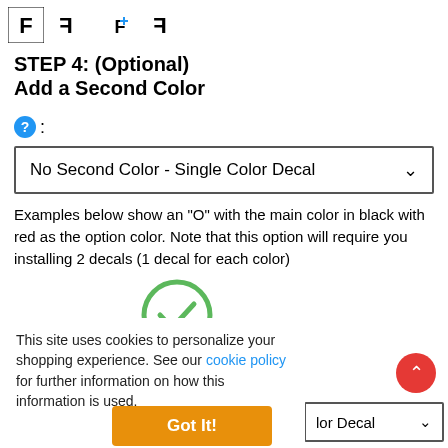[Figure (logo): Row of letter/icon logo marks in black and white pixel style at top of page]
STEP 4: (Optional)
Add a Second Color
? :
No Second Color - Single Color Decal
Examples below show an "O" with the main color in black with red as the option color. Note that this option will require you installing 2 decals (1 decal for each color)
[Figure (illustration): Green circle with white checkmark inside]
This site uses cookies to personalize your shopping experience. See our cookie policy for further information on how this information is used.
Got It!
lor Decal